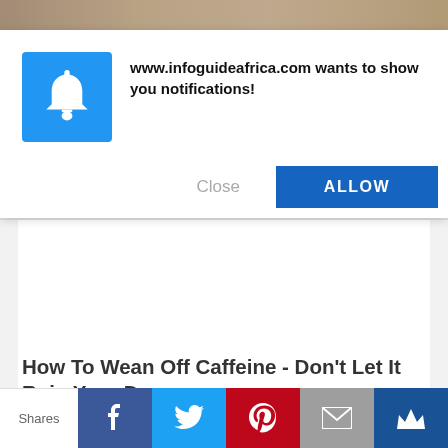[Figure (screenshot): Top portion of a person's photo cropped at the top of the page]
[Figure (screenshot): Browser notification popup from www.infoguideafrica.com with a blue bell icon, message text, Close button, and ALLOW button]
www.infoguideafrica.com wants to show you notifications!
Close
ALLOW
How To Wean Off Caffeine - Don't Let It Ruin Your Day
Shares